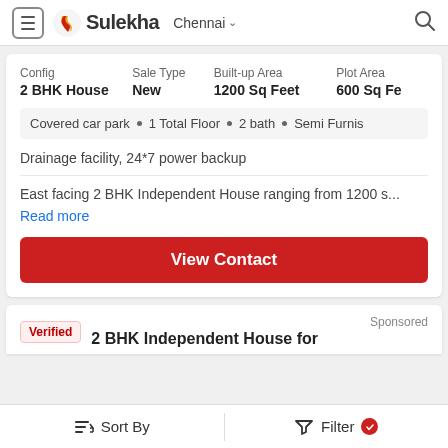Sulekha — Chennai
| Config | Sale Type | Built-up Area | Plot Area |
| --- | --- | --- | --- |
| 2 BHK House | New | 1200 Sq Feet | 600 Sq Fe |
Covered car park • 1 Total Floor • 2 bath • Semi Furnis
Drainage facility, 24*7 power backup
East facing 2 BHK Independent House ranging from 1200 s...
Read more
View Contact
Verified
Sponsored
2 BHK Independent House for
Sort By    Filter